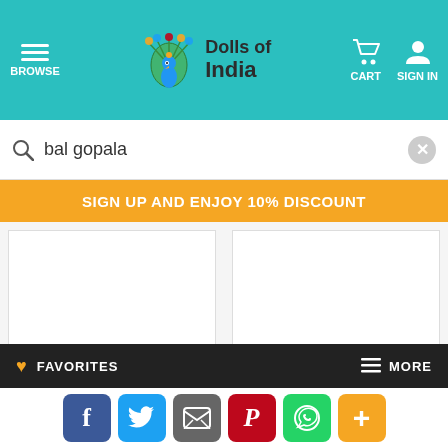[Figure (screenshot): Dolls of India website header with teal background, hamburger menu, peacock logo, cart and sign in icons]
bal gopala
SIGN UP AND ENJOY 10% DISCOUNT
[Figure (other): Two empty white product card placeholders]
More Testimonials
AGGREGATED CONTENT
FAVORITES
MORE